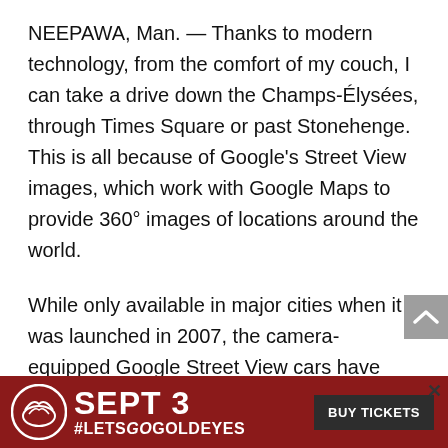NEEPAWA, Man. — Thanks to modern technology, from the comfort of my couch, I can take a drive down the Champs-Élysées, through Times Square or past Stonehenge. This is all because of Google's Street View images, which work with Google Maps to provide 360° images of locations around the world.
While only available in major cities when it was launched in 2007, the camera-equipped Google Street View cars have been seen in more and more places. In 2012, Google announced that it had mapped 5 million miles of roads, covering 39 countries and about 3,000 cities. Today, you can take Street View … as
[Figure (other): Advertisement banner for Goldeyes baseball: SEPT 3 #LETSGOGOLDEYES BUY TICKETS]